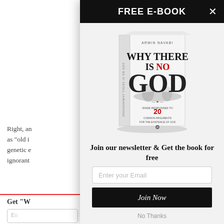FREE E-BOOK
[Figure (illustration): Book cover of 'Why There Is No God' by Armin Navabi, showing bold title text with smoky/dark styling and subtitle about 20 common arguments for the existence of God]
Join our newsletter & Get the book for free
Enter your Email
Join Now
No Thanks
Right, an... as "old i... genetic e... ignorant...
Get "W...